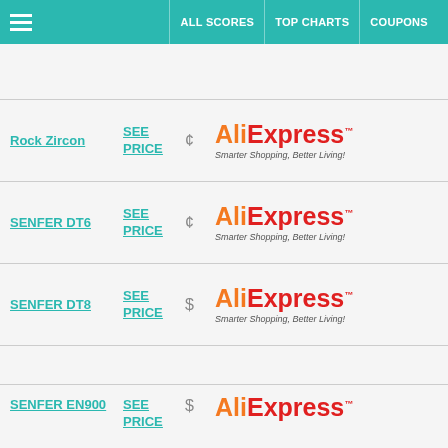ALL SCORES | TOP CHARTS | COUPONS
Rock Zircon | SEE PRICE | ¢ | AliExpress Smarter Shopping, Better Living!
SENFER DT6 | SEE PRICE | ¢ | AliExpress Smarter Shopping, Better Living!
SENFER DT8 | SEE PRICE | $ | AliExpress Smarter Shopping, Better Living!
SENFER EN900 | SEE PRICE | $ | AliExpress